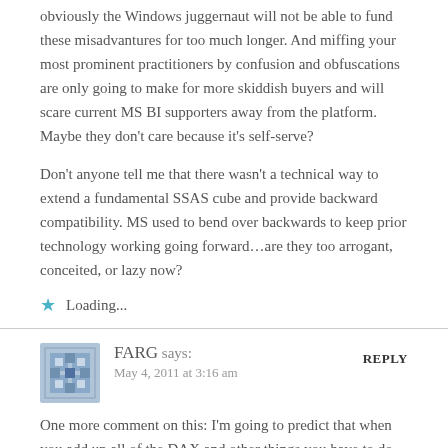obviously the Windows juggernaut will not be able to fund these misadvantures for too much longer. And miffing your most prominent practitioners by confusion and obfuscations are only going to make for more skiddish buyers and will scare current MS BI supporters away from the platform. Maybe they don't care because it's self-serve?
Don't anyone tell me that there wasn't a technical way to extend a fundamental SSAS cube and provide backward compatibility. MS used to bend over backwards to keep prior technology working going forward…are they too arrogant, conceited, or lazy now?
Loading...
FARG says: May 4, 2011 at 3:16 am
REPLY
One more comment on this: I'm going to predict that when you add up all of the DAX and other things you have to do to get a PP model to do the same as an ordinary cube (functionally), you'll still end up with a lot of confusing architecture that will be no less simple to understand… just spend 15 minutes browsing through some of the PP forums and see how the folks get it to do